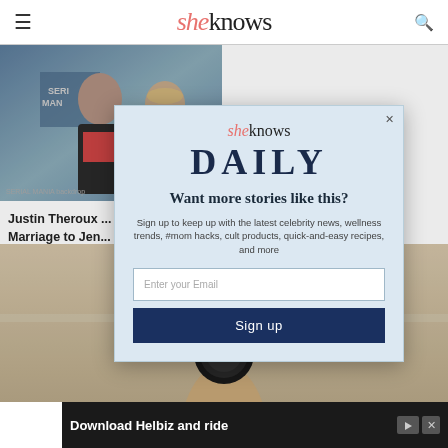sheknows
[Figure (photo): Justin Theroux and Jennifer Aniston at a red carpet event, 'Serial Mania' backdrop visible]
Justin Theroux ... Marriage to Jen...
[Figure (photo): Person holding a small round device, beige/tan background]
[Figure (infographic): Modal popup: sheknows DAILY newsletter signup — 'Want more stories like this?' with email input and Sign up button]
[Figure (infographic): Advertisement banner: Download Helbiz and ride]